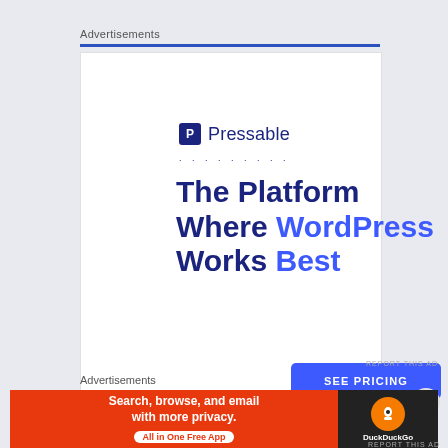Advertisements
[Figure (infographic): Pressable advertisement: logo with 'P' icon and 'Pressable' text, dotted line, headline 'The Platform Where WordPress Works Best', blue 'SEE PRICING' button]
REPORT THIS AD
[Figure (infographic): Partial second advertisement with circular icon and dotted text placeholder]
Advertisements
[Figure (infographic): DuckDuckGo banner ad: 'Search, browse, and email with more privacy. All in One Free App' with DuckDuckGo logo on dark right panel]